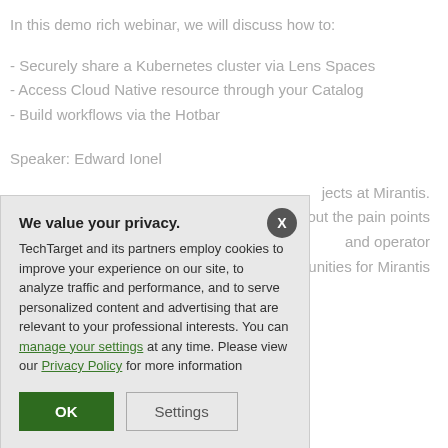In this demo rich webinar, we will discuss how to:
- Securely share a Kubernetes cluster via Lens Spaces
- Access Cloud Native resource through your Catalog
- Build workflows via the Hotbar
Speaker: Edward Ionel
jects at Mirantis.
k out the pain points
and operator
tunities for Mirantis
[Figure (screenshot): Privacy consent modal dialog with title 'We value your privacy.' Explains TechTarget and partners use cookies. Includes links to 'manage your settings' and 'Privacy Policy'. Has OK (green) and Settings (outlined) buttons. Close X button in top right.]